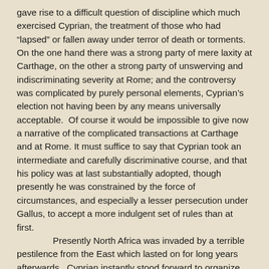gave rise to a difficult question of discipline which much exercised Cyprian, the treatment of those who had “lapsed” or fallen away under terror of death or torments.  On the one hand there was a strong party of mere laxity at Carthage, on the other a strong party of unswerving and indiscriminating severity at Rome; and the controversy was complicated by purely personal elements, Cyprian’s election not having been by any means universally acceptable.  Of course it would be impossible to give now a narrative of the complicated transactions at Carthage and at Rome. It must suffice to say that Cyprian took an intermediate and carefully discriminative course, and that his policy was at last substantially adopted, though presently he was constrained by the force of circumstances, and especially a lesser persecution under Gallus, to accept a more indulgent set of rules than at first.
	Presently North Africa was invaded by a terrible pestilence from the East which lasted on for long years afterwards.  Cyprian instantly stood forward to organize his Christian flock for measures of help and relief, pecuniary and personal, insisting strongly on the duty of helping heathens as well as Christians in the spirit of true Sonship, following